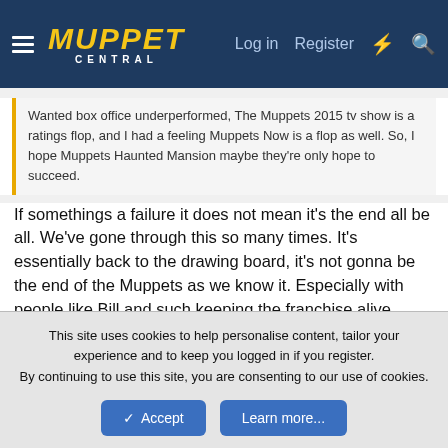Muppet Central — Log in  Register
Wanted box office underperformed, The Muppets 2015 tv show is a ratings flop, and I had a feeling Muppets Now is a flop as well. So, I hope Muppets Haunted Mansion maybe they're only hope to succeed.
If somethings a failure it does not mean it's the end all be all. We've gone through this so many times. It's essentially back to the drawing board, it's not gonna be the end of the Muppets as we know it. Especially with people like Bill and such keeping the franchise alive.
CoolGuy1013 and GuySmileyfan
GuySmilevfan
This site uses cookies to help personalise content, tailor your experience and to keep you logged in if you register.
By continuing to use this site, you are consenting to our use of cookies.
Accept  Learn more...